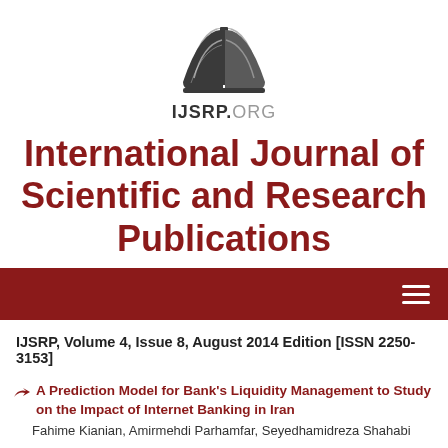[Figure (logo): Open book logo with IJSRP.ORG text below]
International Journal of Scientific and Research Publications
Navigation bar with hamburger menu
IJSRP, Volume 4, Issue 8, August 2014 Edition [ISSN 2250-3153]
A Prediction Model for Bank's Liquidity Management to Study on the Impact of Internet Banking in Iran
Fahime Kianian, Amirmehdi Parhamfar, Seyedhamidreza Shahabi